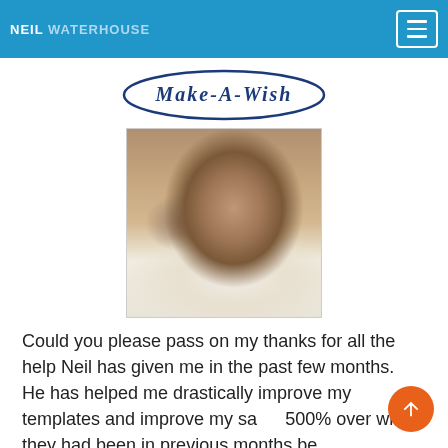NEIL WATERHOUSE
[Figure (logo): Make-A-Wish foundation logo, circular text design in dark blue]
[Figure (photo): Portrait photo of a woman with short brown hair wearing a white top, smiling slightly, indoor setting]
Could you please pass on my thanks for all the help Neil has given me in the past few months.  He has helped me drastically improve my templates and improve my sales 500% over what they had been in previous months before I started working with him.